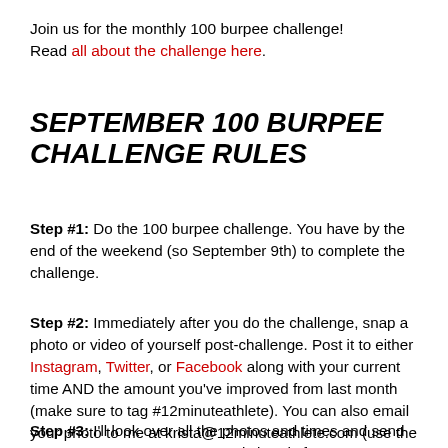Join us for the monthly 100 burpee challenge! Read all about the challenge here.
SEPTEMBER 100 BURPEE CHALLENGE RULES
Step #1: Do the 100 burpee challenge. You have by the end of the weekend (so September 9th) to complete the challenge.
Step #2: Immediately after you do the challenge, snap a photo or video of yourself post-challenge. Post it to either Instagram, Twitter, or Facebook along with your current time AND the amount you've improved from last month (make sure to tag #12minuteathlete). You can also email your photo to me at krista@12minuteathlete.com (use the subject '100 burpee challenge photo' so I can actually find your photos).
Step #3: I'll look over all the photos and times and send you 5 awesome #noexcuses wristbands for